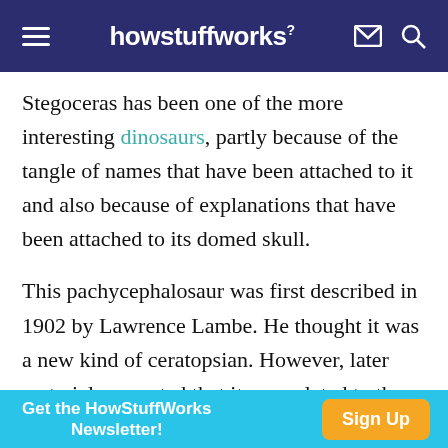howstuffworks
Stegoceras has been one of the more interesting dinosaurs, partly because of the tangle of names that have been attached to it and also because of explanations that have been attached to its domed skull.
This pachycephalosaur was first described in 1902 by Lawrence Lambe. He thought it was a new kind of ceratopsian. However, later material suggested that it was related to the stegosaurs. It was not until 1924 that paleontologists realized it was a
[Figure (other): Advertisement banner: 'Get the HowStuffWorks Newsletter!' with an orange 'Sign Up' button on a light blue background.]